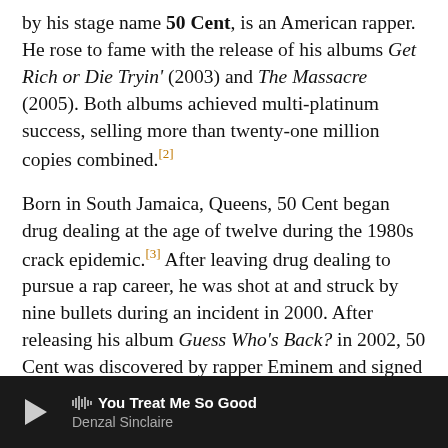by his stage name 50 Cent, is an American rapper. He rose to fame with the release of his albums Get Rich or Die Tryin' (2003) and The Massacre (2005). Both albums achieved multi-platinum success, selling more than twenty-one million copies combined.[2]
Born in South Jamaica, Queens, 50 Cent began drug dealing at the age of twelve during the 1980s crack epidemic.[3] After leaving drug dealing to pursue a rap career, he was shot at and struck by nine bullets during an incident in 2000. After releasing his album Guess Who's Back? in 2002, 50 Cent was discovered by rapper Eminem and signed to Interscope Records. With the help of Eminem and Dr. Drewho produced his first major commercial successeshe became one of the world's highest selling rappers. In 2003, he founded the record label G-Unit Records, which signed several successful rappers such as Young Buck, Lloyd Banks, and Tony Yayo.
▶ You Treat Me So Good — Denzal Sinclaire